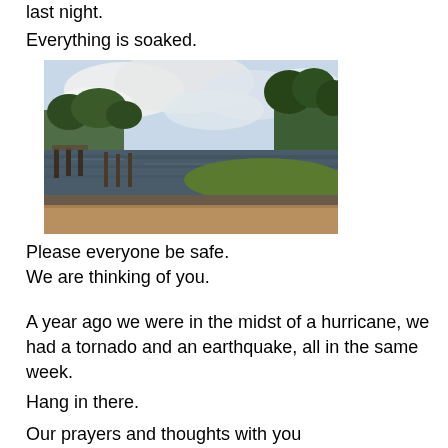last night.
Everything is soaked.
[Figure (photo): Outdoor photograph of a flooded waterway or lake with a dock/pier on the left, trees lining both banks, cloudy sky above, and murky brown floodwater in the foreground.]
Please everyone be safe.
We are thinking of you.
A year ago we were in the midst of a hurricane, we had a tornado and an earthquake, all in the same week.
Hang in there.
Our prayers and thoughts with you